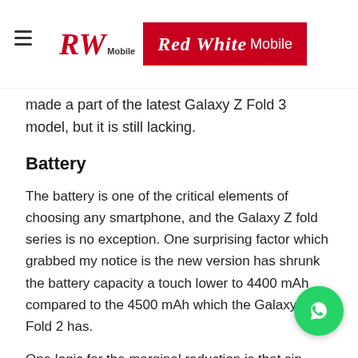Red White Mobile
made a part of the latest Galaxy Z Fold 3 model, but it is still lacking.
Battery
The battery is one of the critical elements of choosing any smartphone, and the Galaxy Z fold series is no exception. One surprising factor which grabbed my notice is the new version has shrunk the battery capacity a touch lower to 4400 mAh compared to the 4500 mAh which the Galaxy Z Fold 2 has.
One logic for the marginal reduction is that since processor in the latest model is faster, the need for power would be less. In testing, I found that the old